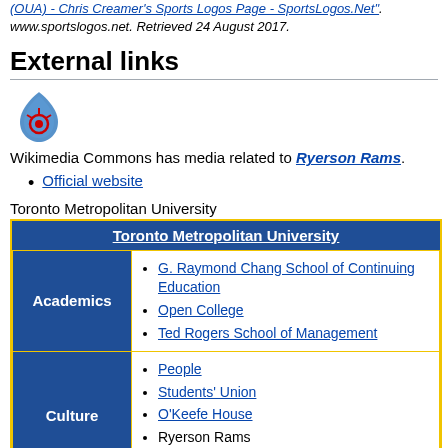(OUA) - Chris Creamer's Sports Logos Page - SportsLogos.Net". www.sportslogos.net. Retrieved 24 August 2017.
External links
[Figure (logo): Wikimedia Commons flame/droplet logo icon]
Wikimedia Commons has media related to Ryerson Rams.
Official website
Toronto Metropolitan University
| Toronto Metropolitan University |
| --- |
| Academics | G. Raymond Chang School of Continuing Education; Open College; Ted Rogers School of Management |
| Culture | People; Students' Union; O'Keefe House; Ryerson Rams; Maple Leaf Gardens |